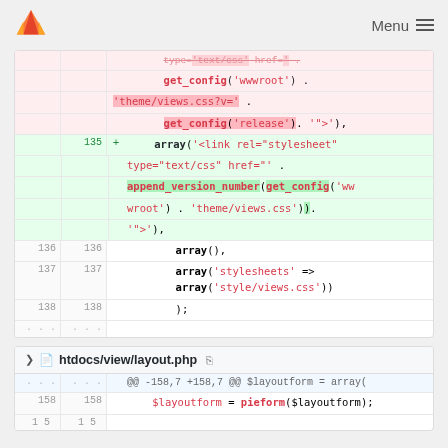Menu
[Figure (screenshot): GitLab diff view showing code changes in a PHP file. Deleted lines show get_config calls for wwwroot and theme/views.css with version parameter. Added line 135 shows array with append_version_number(get_config('wwwroot') . 'theme/views.css'). Lines 136-138 show array(), array('stylesheets' => array('style/views.css')), and );]
[Figure (screenshot): Second diff block for htdocs/view/layout.php showing @@ -158,7 +158,7 @@ $layoutform = array( context and line 158 with $layoutform = pieform($layoutform);]